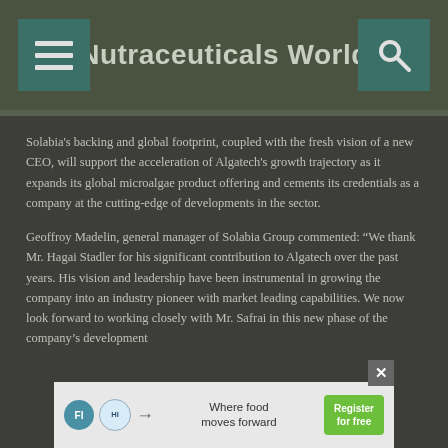Nutraceuticals World
Solabia's backing and global footprint, coupled with the fresh vision of a new CEO, will support the acceleration of Algatech's growth trajectory as it expands its global microalgae product offering and cements its credentials as a company at the cutting-edge of developments in the sector.
Geoffroy Madelin, general manager of Solabia Group commented: “We thank Mr. Hagai Stadler for his significant contribution to Algatech over the past years. His vision and leadership have been instrumental in growing the company into an industry pioneer with market leading capabilities. We now look forward to working closely with Mr. Safrai in this new phase of the company’s development
[Figure (other): Advertisement banner: FI and Health Ingredients logos, text 'Where food moves forward', green 'Register for free' button, with close X button]